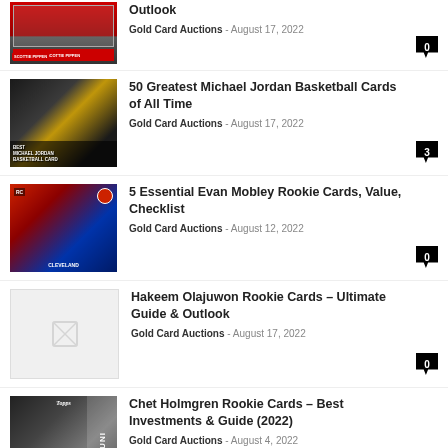Outlook
50 Greatest Michael Jordan Basketball Cards of All Time
5 Essential Evan Mobley Rookie Cards, Value, Checklist
Hakeem Olajuwon Rookie Cards – Ultimate Guide & Outlook
Chet Holmgren Rookie Cards – Best Investments & Guide (2022)